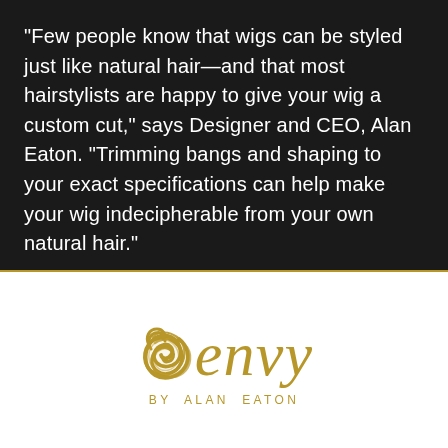“Few people know that wigs can be styled just like natural hair—and that most hairstylists are happy to give your wig a custom cut,” says Designer and CEO, Alan Eaton. “Trimming bangs and shaping to your exact specifications can help make your wig indecipherable from your own natural hair.”
[Figure (logo): Envy by Alan Eaton logo. Gold italic serif text reading 'envy' with a decorative swirl/hair icon to the left, and 'BY ALAN EATON' in small gold spaced caps below.]